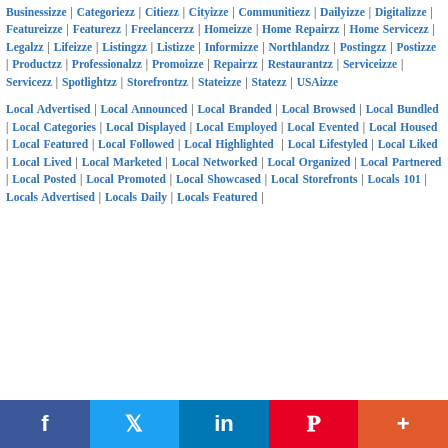Businessizze | Categoriezz | Citiezz | Cityizze | Communitiezz | Dailyizze | Digitalizze | Featureizze | Featurezz | Freelancerzz | Homeizze | Home Repairzz | Home Servicezz | Legalzz | Lifeizze | Listingzz | Listizze | Informizze | Northlandzz | Postingzz | Postizze | Productzz | Professionalzz | Promoizze | Repairzz | Restaurantzz | Serviceizze | Servicezz | Spotlightzz | Storefrontzz | Stateizze | Statezz | USAizze
Local Advertised | Local Announced | Local Branded | Local Browsed | Local Bundled | Local Categories | Local Displayed | Local Employed | Local Evented | Local Housed | Local Featured | Local Followed | Local Highlighted | Local Lifestyled | Local Liked | Local Lived | Local Marketed | Local Networked | Local Organized | Local Partnered | Local Posted | Local Promoted | Local Showcased | Local Storefronts | Locals 101 | Locals Advertised | Locals Daily | Locals Featured |